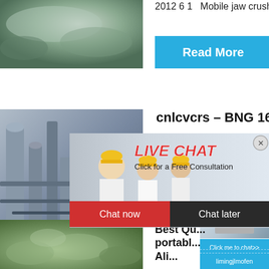[Figure (photo): Aerial view of gravel/aggregate pile in grey-green tones]
2012 6 1  Mobile jaw crush...
[Figure (other): Read More button in light blue]
[Figure (photo): Industrial equipment/silos on left side]
cnlcvcrs – BNG 169
[Figure (other): Live Chat overlay popup with workers in hard hats, chat now and chat later buttons]
hour online
[Figure (photo): Crusher machine image on right panel]
[Figure (other): Read button (partial)]
[Figure (other): Click me to chat>> button]
[Figure (photo): Bottom left: rocks/aggregate photo]
Best Qu... portabl... Ali...
[Figure (other): Enquiry button]
limingjlmofen